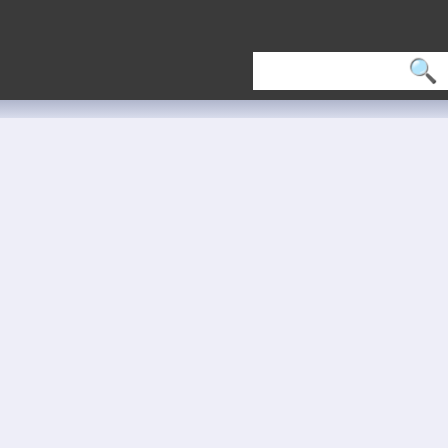Aspose::Pdf::Drawing Member List
Aspose::Pdf::Draw Member List
This is the complete list of members for Aspose::Pdf::Drawing::Path including all inherited members.
ClipShading(System::Shared<...>
Deserialize(System::SharedP...
Equals(ptr obj)
Equals(T1 const &objA, T2 co...
Equals(T1 const &objA, T2 co...